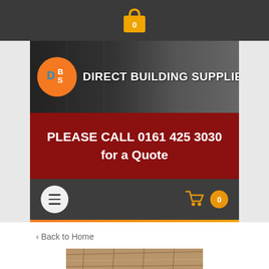[Figure (screenshot): Top dark navigation bar with shopping bag icon showing 0]
[Figure (logo): Direct Building Supplies logo with orange DBS circle and white text on dark banner background]
PLEASE CALL 0161 425 3030 for a Quote
[Figure (screenshot): Dark navigation bar with hamburger menu button and cart icon with 0 badge]
< Back to Home
[Figure (photo): Close-up photo of wooden planks/timber building supplies]